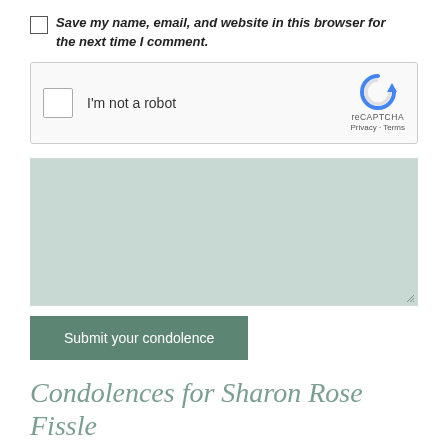Save my name, email, and website in this browser for the next time I comment.
[Figure (screenshot): reCAPTCHA widget with checkbox labeled 'I'm not a robot' and reCAPTCHA logo with Privacy and Terms links]
[Figure (screenshot): Empty textarea input field with resize handle in bottom-right corner]
Submit your condolence
Condolences for Sharon Rose Fissle